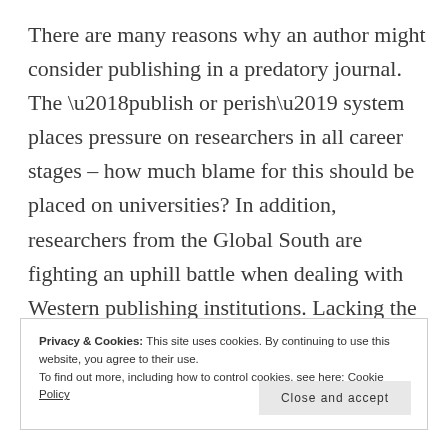There are many reasons why an author might consider publishing in a predatory journal. The ‘publish or perish’ system places pressure on researchers in all career stages – how much blame for this should be placed on universities? In addition, researchers from the Global South are fighting an uphill battle when dealing with Western publishing institutions. Lacking the same resources, training,
Privacy & Cookies: This site uses cookies. By continuing to use this website, you agree to their use. To find out more, including how to control cookies, see here: Cookie Policy Close and accept